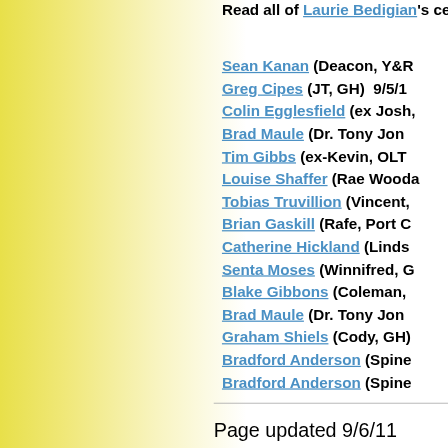Read all of Laurie Bedigian's ce...
Sean Kanan (Deacon, Y&R...
Greg Cipes (JT, GH)  9/5/1...
Colin Egglesfield (ex Josh,...
Brad Maule (Dr. Tony Jon...
Tim Gibbs (ex-Kevin, OLT...
Louise Shaffer (Rae Wooda...
Tobias Truvillion (Vincent,...
Brian Gaskill (Rafe, Port C...
Catherine Hickland (Linds...
Senta Moses (Winnifred, G...
Blake Gibbons (Coleman,...
Brad Maule (Dr. Tony Jon...
Graham Shiels (Cody, GH)...
Bradford Anderson (Spine...
Bradford Anderson (Spine...
Page updated 9/6/11
Back to the Main AMC Q&A Page...
Back to the Main All My Childre...